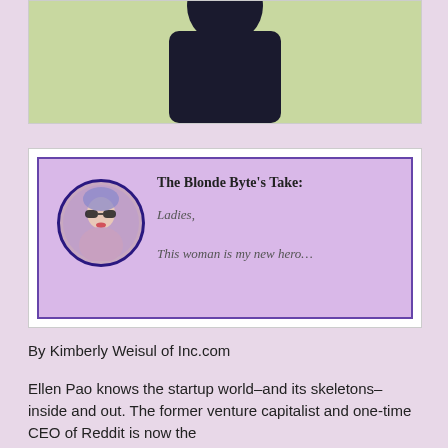[Figure (photo): Photo of a person in dark clothing against a light green background, cropped at top of page]
[Figure (infographic): The Blonde Byte's Take quotation box with lavender background and circular avatar portrait. Contains text: 'The Blonde Byte’s Take:' as title, followed by italic text 'Ladies,' and 'This woman is my new hero...']
By Kimberly Weisul of Inc.com
Ellen Pao knows the startup world–and its skeletons–inside and out. The former venture capitalist and one-time CEO of Reddit is now the